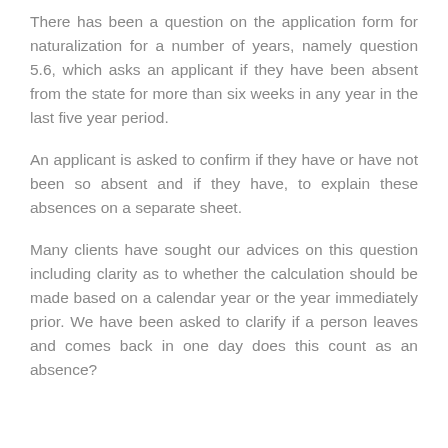There has been a question on the application form for naturalization for a number of years, namely question 5.6, which asks an applicant if they have been absent from the state for more than six weeks in any year in the last five year period.
An applicant is asked to confirm if they have or have not been so absent and if they have, to explain these absences on a separate sheet.
Many clients have sought our advices on this question including clarity as to whether the calculation should be made based on a calendar year or the year immediately prior. We have been asked to clarify if a person leaves and comes back in one day does this count as an absence?